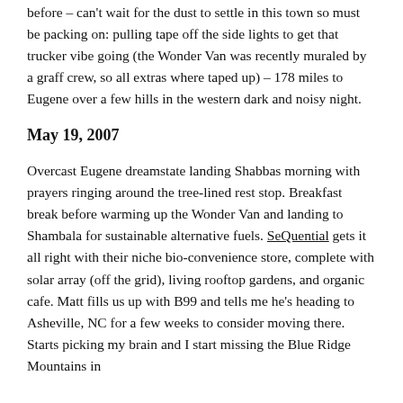before – can't wait for the dust to settle in this town so must be packing on: pulling tape off the side lights to get that trucker vibe going (the Wonder Van was recently muraled by a graff crew, so all extras where taped up) – 178 miles to Eugene over a few hills in the western dark and noisy night.
May 19, 2007
Overcast Eugene dreamstate landing Shabbas morning with prayers ringing around the tree-lined rest stop. Breakfast break before warming up the Wonder Van and landing to Shambala for sustainable alternative fuels. SeQuential gets it all right with their niche bio-convenience store, complete with solar array (off the grid), living rooftop gardens, and organic cafe. Matt fills us up with B99 and tells me he's heading to Asheville, NC for a few weeks to consider moving there. Starts picking my brain and I start missing the Blue Ridge Mountains in